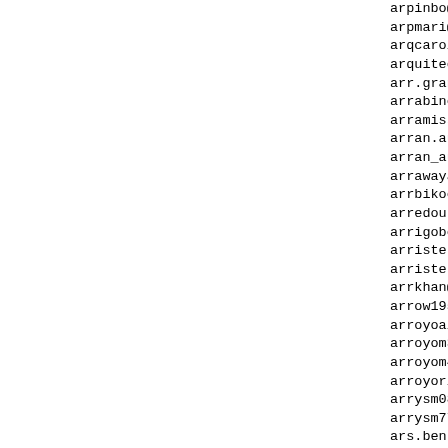arpinbo@wananchi.com
arpmari@gmail.com
arqcarol@fibertel.com
arquitectura@curaduri
arr.grannnjddddd@aol.
arrabinowitzlaw@gmail
arramissah@gmail.com
arran.augustine@yahoo
arran_augustine@redif
arrawayannn@gmail.com
arrbikoodili13@gmail.
arredourbano@alice.it
arrigoboda@gmail.com
arristergerardvidal00
arristergerardvidal1@
arrkhan@gmail.com
arrow1950@mail.goo.ne
arroyoalicia@yandex.c
arroyom399@yahoo.com
arroyom437@yahoo.com
arroyorizza1974@gmail
arrysm080@hotmail.com
arrysm77@hotmail.com
ars.bentin@yahoo.com
ars.racingshop@gmail.
ars_bentin@yahoo.com
arsal16592@gmail.com
arsenal@sowireless.or
arsenal@ukrpost.net
arsenal_gunner_1996@y